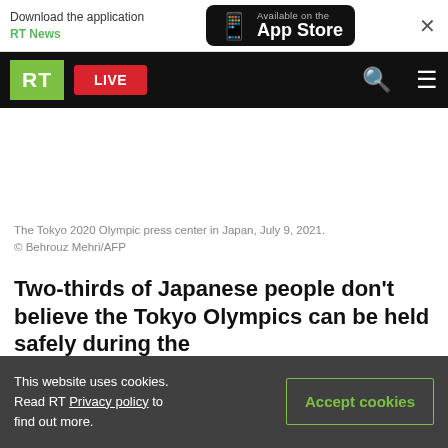Download the application RT News | Available on the App Store
RT LIVE
The Tokyo 2020 Olympic press center in Japan, July 9, 2021. © Behrouz Mehri/AFP
Two-thirds of Japanese people don't believe the Tokyo Olympics can be held safely during the
This website uses cookies. Read RT Privacy policy to find out more.
Accept cookies